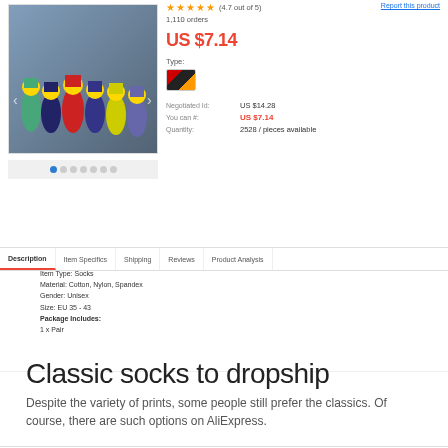[Figure (photo): Product image showing superhero-themed socks arranged together with colorful character designs]
Report this product
★★★★★ (4.7 out of 5)
1,110 orders
US $7.14
Type:
Negotiated Id: US $14.28
You can #: US $7.14
Quantity: 2528 / pieces available
Description | Item Specifics | Shipping | Reviews | Product Analysis
Item Type: Socks
Material: Cotton, Nylon, Spandex
Gender: Unisex
Size: EU 35 - 43
Package Includes:
1 x Pair
Classic socks to dropship
Despite the variety of prints, some people still prefer the classics. Of course, there are such options on AliExpress.